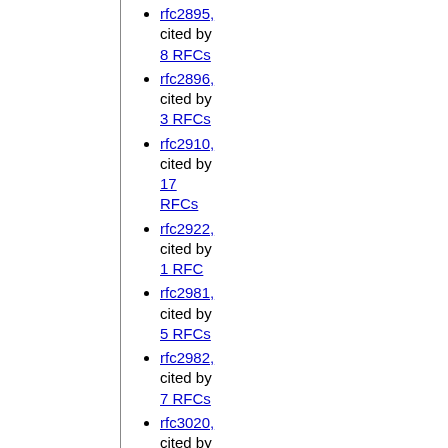rfc2895, cited by 8 RFCs
rfc2896, cited by 3 RFCs
rfc2910, cited by 17 RFCs
rfc2922, cited by 1 RFC
rfc2981, cited by 5 RFCs
rfc2982, cited by 7 RFCs
rfc3020, cited by 4 RFCs
rfc3410, cited by 227 RFCs